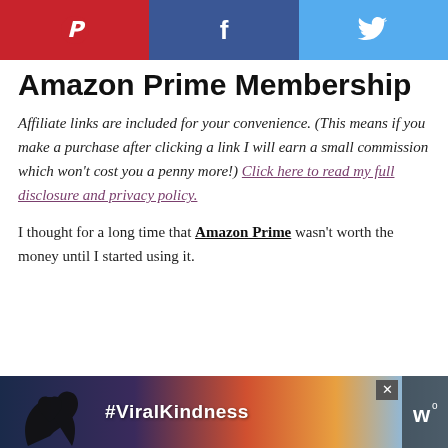[Figure (other): Social sharing buttons bar with Pinterest (red), Facebook (dark blue), and Twitter (light blue) icons]
Amazon Prime Membership
Affiliate links are included for your convenience. (This means if you make a purchase after clicking a link I will earn a small commission which won't cost you a penny more!) Click here to read my full disclosure and privacy policy.
I thought for a long time that Amazon Prime wasn't worth the money until I started using it.
[Figure (photo): Advertisement banner with hands forming a heart shape silhouette against a colorful sky background, with #ViralKindness text and a logo icon. Includes a close (X) button.]